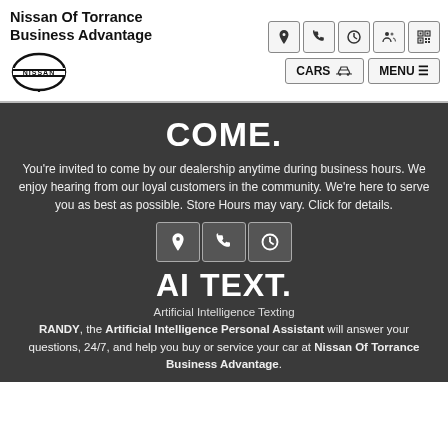Nissan Of Torrance Business Advantage
[Figure (logo): Nissan circular logo with NISSAN text]
[Figure (infographic): Header icon row: location, phone, clock, people, QR code icons; CARS and MENU buttons]
COME.
You're invited to come by our dealership anytime during business hours. We enjoy hearing from our loyal customers in the community. We're here to serve you as best as possible. Store Hours may vary. Click for details.
[Figure (infographic): Three icon buttons: location pin, phone, clock]
AI TEXT.
Artificial Intelligence Texting
RANDY, the Artificial Intelligence Personal Assistant will answer your questions, 24/7, and help you buy or service your car at Nissan Of Torrance Business Advantage.